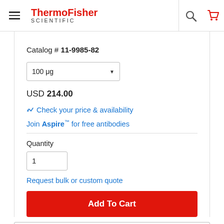ThermoFisher SCIENTIFIC
Catalog # 11-9985-82
100 μg (dropdown)
USD 214.00
Check your price & availability
Join Aspire™ for free antibodies
Quantity
1
Request bulk or custom quote
Add To Cart